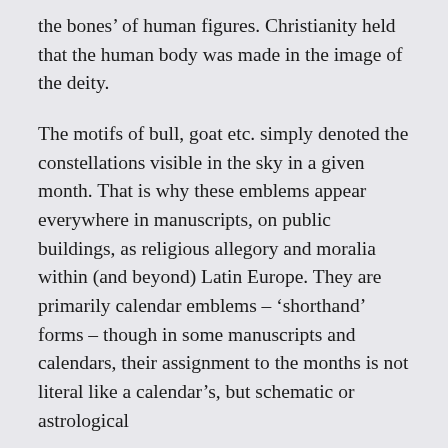the bones' of human figures. Christianity held that the human body was made in the image of the deity.
The motifs of bull, goat etc. simply denoted the constellations visible in the sky in a given month. That is why these emblems appear everywhere in manuscripts, on public buildings, as religious allegory and moralia within (and beyond) Latin Europe. They are primarily calendar emblems – 'shorthand' forms – though in some manuscripts and calendars, their assignment to the months is not literal like a calendar's, but schematic or astrological